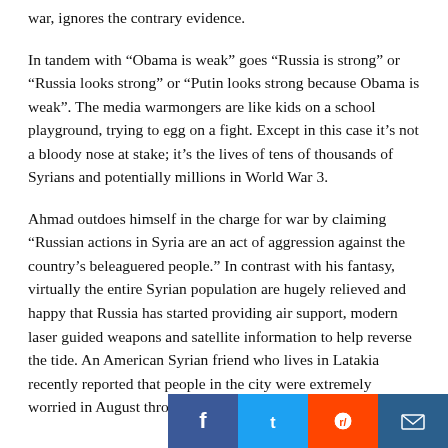war, ignores the contrary evidence.
In tandem with “Obama is weak” goes “Russia is strong” or “Russia looks strong” or “Putin looks strong because Obama is weak”. The media warmongers are like kids on a school playground, trying to egg on a fight. Except in this case it’s not a bloody nose at stake; it’s the lives of tens of thousands of Syrians and potentially millions in World War 3.
Ahmad outdoes himself in the charge for war by claiming “Russian actions in Syria are an act of aggression against the country’s beleaguered people.” In contrast with his fantasy, virtually the entire Syrian population are hugely relieved and happy that Russia has started providing air support, modern laser guided weapons and satellite information to help reverse the tide. An American Syrian friend who lives in Latakia recently reported that people in the city were extremely worried in August through mid-September
[Figure (infographic): Social media sharing buttons: Facebook (blue), Twitter (light blue), Reddit (orange), Email (dark blue)]